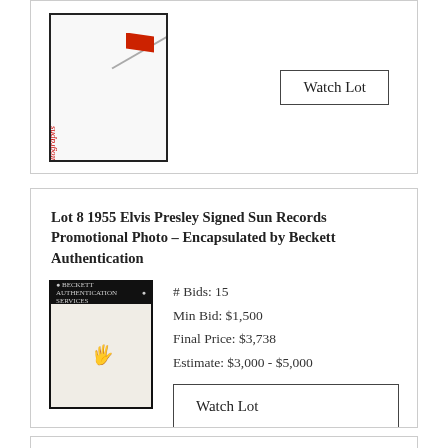[Figure (photo): Partial view of a signed item in a black-bordered frame with diagonal line and red flag element. Bottom shows vertical handwritten-style text in red.]
[Figure (other): Watch Lot button in top card]
Lot 8 1955 Elvis Presley Signed Sun Records Promotional Photo – Encapsulated by Beckett Authentication
[Figure (photo): Beckett encapsulated signed Sun Records promotional photo with black top bar and beige/cream background showing faint signature.]
# Bids: 15
Min Bid: $1,500
Final Price: $3,738
Estimate: $3,000 - $5,000
[Figure (other): Watch Lot button in mid card]
Lot 15 Sun Record Co. Check to Dewey Phillips for $500 (10/5/56) Signed by Sam Phillips and Dewey Phillips*